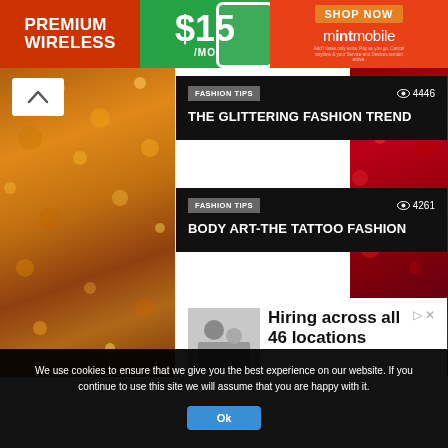[Figure (infographic): Banner advertisement for Mint Mobile: Premium Wireless for $15/mo. Orange background with green price panel and 'Shop Now' button.]
FASHION TIPS  👁 4446
THE GLITTERING FASHION TREND
FASHION TIPS  👁 4261
BODY ART-THE TATTOO FASHION
[Figure (infographic): Advertisement: Hiring across all 46 locations. Image of two people. Text: We're hiring for healthcare, hospitality, restaurant, maintenance, housekeeping positions.]
We use cookies to ensure that we give you the best experience on our website. If you continue to use this site we will assume that you are happy with it.
Ok